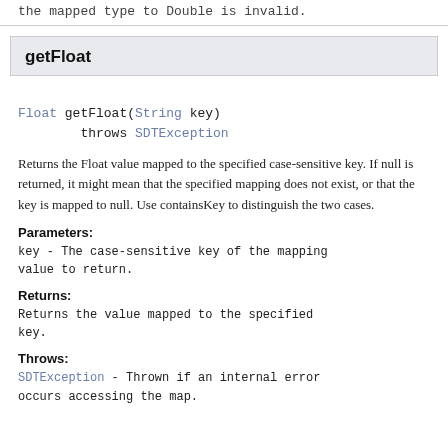the mapped type to Double is invalid.
getFloat
Float getFloat(String key)
        throws SDTException
Returns the Float value mapped to the specified case-sensitive key. If null is returned, it might mean that the specified mapping does not exist, or that the key is mapped to null. Use containsKey to distinguish the two cases.
Parameters:
key - The case-sensitive key of the mapping value to return.
Returns:
Returns the value mapped to the specified key.
Throws:
SDTException - Thrown if an internal error occurs accessing the map.